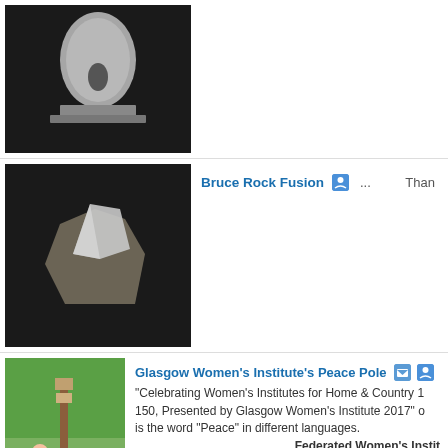[Figure (photo): Silver metallic sculpture of a screaming human head on a flat pedestal, against black background]
[Figure (photo): Rock sculpture with metallic/silver angular element fused on top of a natural stone, against black background]
Bruce Rock Fusion ... Than
[Figure (photo): Three people standing in front of a Peace Pole in a park with trees in background]
Glasgow Women's Institute's Peace Pole
"Celebrating Women's Institutes for Home & Country 150, Presented by Glasgow Women's Institute 2017" on is the word "Peace" in different languages.
Federated Women's Instit